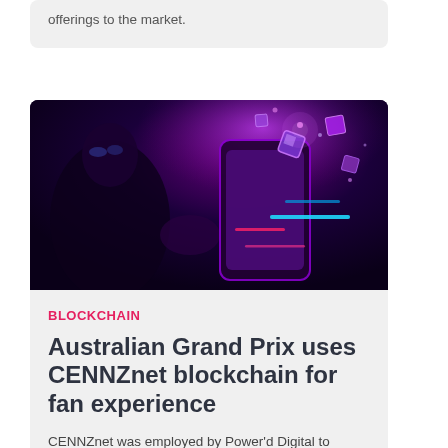offerings to the market.
[Figure (photo): Dark background image of a hand holding a glowing smartphone with floating 3D cubes and neon light streaks in purple, pink, and blue tones — a blockchain/digital technology concept image.]
BLOCKCHAIN
Australian Grand Prix uses CENNZnet blockchain for fan experience
CENNZnet was employed by Power'd Digital to deliver the Formula 1 Heineken Australian Grand Prix's 2022 AusGP Access program.